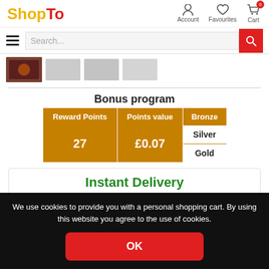ShopTo — Account, Favourites, Cart
[Figure (screenshot): Search bar with hamburger menu and red search button]
[Figure (photo): Thumbnail images row showing game/product images]
Bonus program
| Reward Points | Points value | Bronze |
| --- | --- | --- |
| 27 | £0.07 | Silver |
|  |  | Gold |
Instant Delivery
We use cookies to provide you with a personal shopping cart. By using this website you agree to the use of cookies.
OK